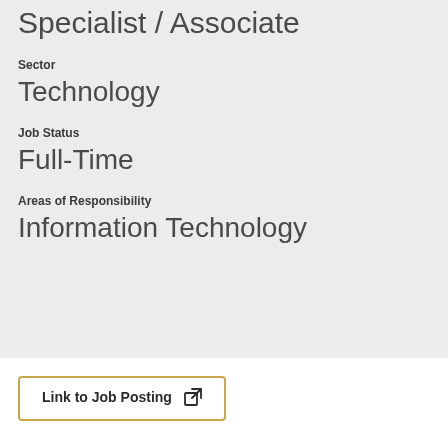Specialist / Associate
Sector
Technology
Job Status
Full-Time
Areas of Responsibility
Information Technology
Link to Job Posting